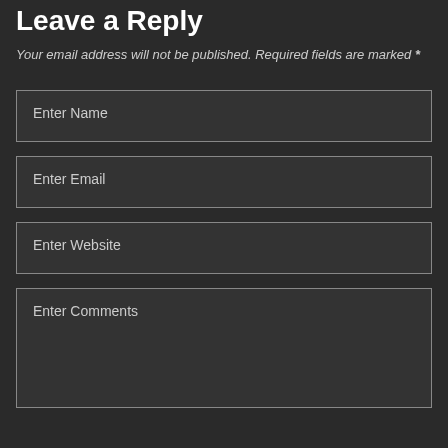Leave a Reply
Your email address will not be published. Required fields are marked *
Enter Name
Enter Email
Enter Website
Enter Comments